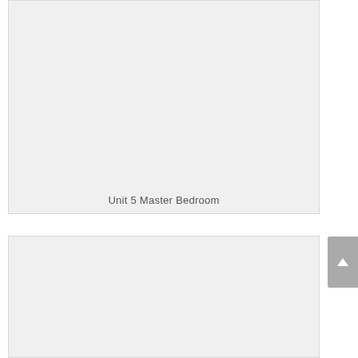[Figure (photo): Photo placeholder for Unit 5 Master Bedroom — light grey empty rectangle]
Unit 5 Master Bedroom
[Figure (photo): Second photo placeholder — light grey empty rectangle, partially visible]